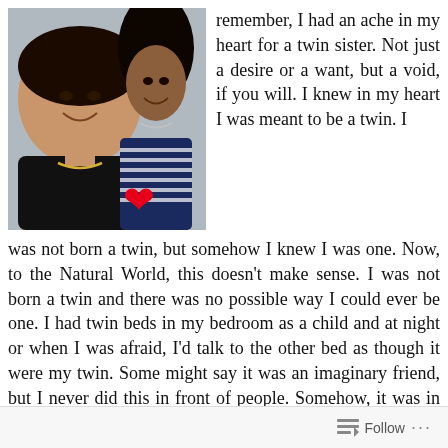[Figure (photo): Selfie photo of two women smiling; the one in the foreground is wearing a dark top and gold necklace, the one in the background wears a navy striped shirt with a red heart emoji overlaid on the image.]
remember, I had an ache in my heart for a twin sister. Not just a desire or a want, but a void, if you will. I knew in my heart I was meant to be a twin. I was not born a twin, but somehow I knew I was one. Now, to the Natural World, this doesn't make sense. I was not born a twin and there was no possible way I could ever be one. I had twin beds in my bedroom as a child and at night or when I was afraid, I'd talk to the other bed as though it were my twin. Some might say it was an imaginary friend, but I never did this in front of people. Somehow, it was in my spirit. As I grew older,
Follow ...